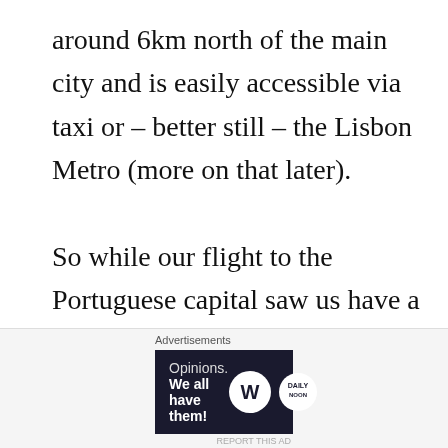around 6km north of the main city and is easily accessible via taxi or – better still – the Lisbon Metro (more on that later).

So while our flight to the Portuguese capital saw us have a very early start meaning we were a little tired, we were also excited to get out of the airport and explore the city as soon as possible and
[Figure (other): Advertisement banner: WordPress and Daily Opinions ad with text 'Opinions. We all have them!' on dark navy background with WordPress and another publication logo.]